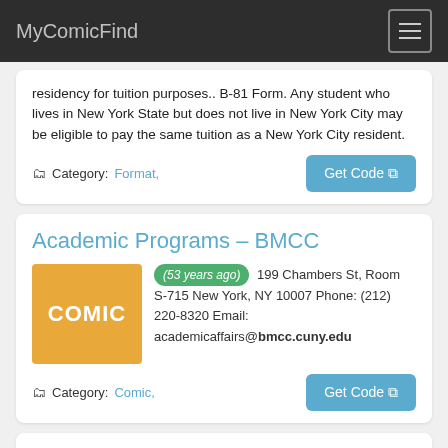MyComicFind
residency for tuition purposes.. B-81 Form. Any student who lives in New York State but does not live in New York City may be eligible to pay the same tuition as a New York City resident.
Category: Format,
Academic Programs – BMCC
(53 years ago) 199 Chambers St, Room S-715 New York, NY 10007 Phone: (212) 220-8320 Email: academicaffairs@bmcc.cuny.edu
Category: Comic,
Senior Pass 2020 – BMCC